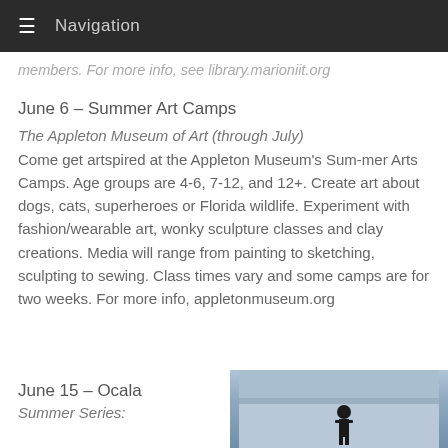Navigation
members. For more info, see library.marioniit.org
June 6 – Summer Art Camps
The Appleton Museum of Art (through July)
Come get artspired at the Appleton Museum's Sum-mer Arts Camps. Age groups are 4-6, 7-12, and 12+. Create art about dogs, cats, superheroes or Florida wildlife. Experiment with fashion/wearable art, wonky sculpture classes and clay creations. Media will range from painting to sketching, sculpting to sewing. Class times vary and some camps are for two weeks. For more info, appletonmuseum.org
June 15 – Ocala
Summer Series:
[Figure (photo): A person standing outdoors, appears to be in winter or athletic gear, photo taken from a distance.]